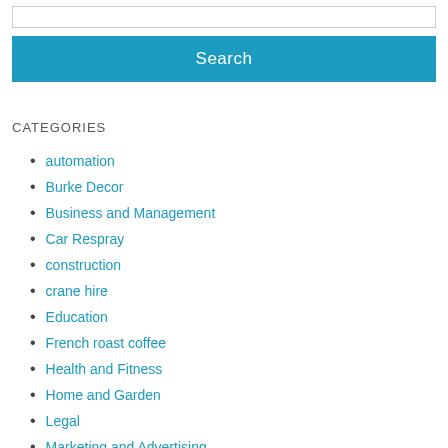[Figure (screenshot): Search input box (empty text field)]
[Figure (screenshot): Search button with label 'Search' on teal/blue background]
CATEGORIES
automation
Burke Decor
Business and Management
Car Respray
construction
crane hire
Education
French roast coffee
Health and Fitness
Home and Garden
Legal
Marketing and Advertising
My Blog